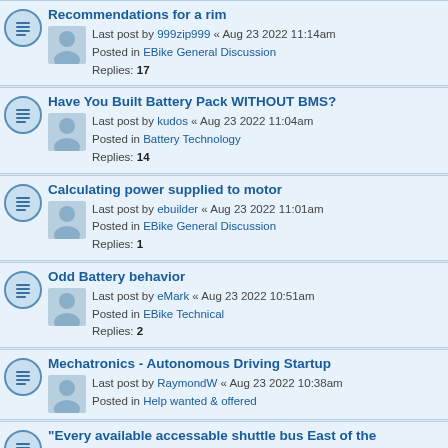Recommendations for a rim
Last post by 999zip999 « Aug 23 2022 11:14am
Posted in EBike General Discussion
Replies: 17
Have You Built Battery Pack WITHOUT BMS?
Last post by kudos « Aug 23 2022 11:04am
Posted in Battery Technology
Replies: 14
Calculating power supplied to motor
Last post by ebuilder « Aug 23 2022 11:01am
Posted in EBike General Discussion
Replies: 1
Odd Battery behavior
Last post by eMark « Aug 23 2022 10:51am
Posted in EBike Technical
Replies: 2
Mechatronics - Autonomous Driving Startup
Last post by RaymondW « Aug 23 2022 10:38am
Posted in Help wanted & offered
"Every available accessable shuttle bus East of the Mississippi":
Last post by Chalo « Aug 23 2022 10:37am
Posted in General Discussion
Replies: 9
Connecting LED head lights to S866 or similar display